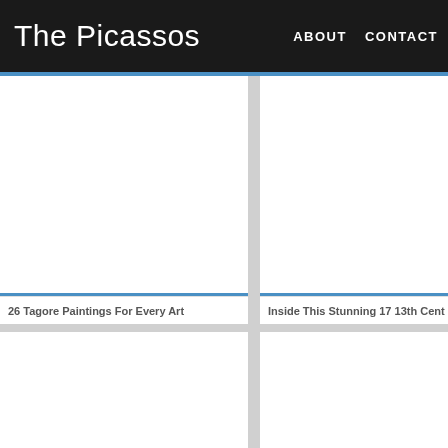The Picassos
ABOUT
CONTACT
[Figure (photo): Top-left image placeholder, white background]
[Figure (photo): Top-right image placeholder, white background]
26 Tagore Paintings For Every Art
Inside This Stunning 17 13th Cent
[Figure (photo): Bottom-left image placeholder, white background]
[Figure (photo): Bottom-right image placeholder, white background]